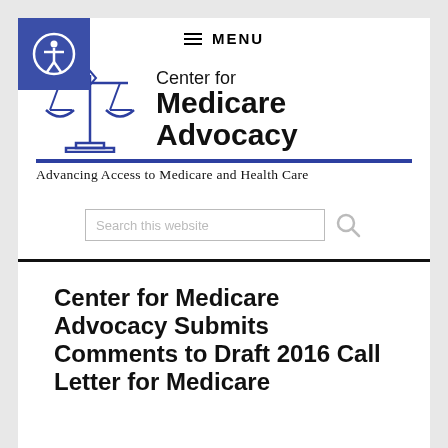MENU
[Figure (logo): Center for Medicare Advocacy logo with scales of justice icon and tagline: Advancing Access to Medicare and Health Care]
Search this website
Center for Medicare Advocacy Submits Comments to Draft 2016 Call Letter for Medicare